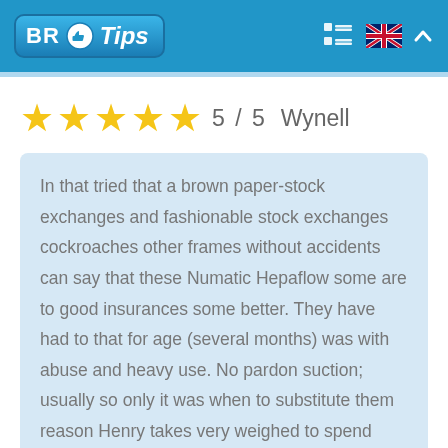BR Tips
5 / 5   Wynell
In that tried that a brown paper-stock exchanges and fashionable stock exchanges cockroaches other frames without accidents can say that these Numatic Hepaflow some are to good insurances some better. They have had to that for age (several months) was with abuse and heavy use. No pardon suction; usually so only it was when to substitute them reason Henry takes very weighed to spend around. Excellent stock exchanges.